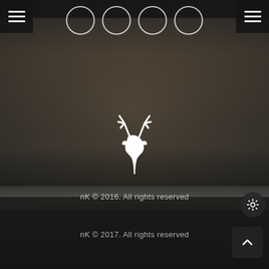[Figure (screenshot): Dark forest/logs background with deer logo, navigation circles, hamburger menus, copyright notices and UI buttons]
nK © 2016. All rights reserved
nK © 2017. All rights reserved